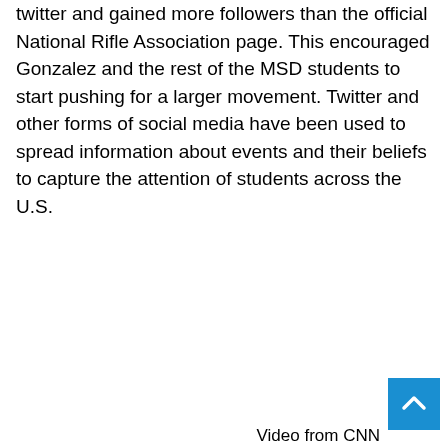twitter and gained more followers than the official National Rifle Association page. This encouraged Gonzalez and the rest of the MSD students to start pushing for a larger movement. Twitter and other forms of social media have been used to spread information about events and their beliefs to capture the attention of students across the U.S.
Video from CNN